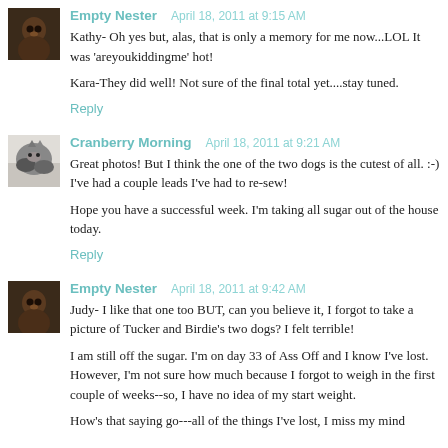[Figure (photo): Small avatar photo of Empty Nester, dark tones face closeup]
Empty Nester   April 18, 2011 at 9:15 AM
Kathy- Oh yes but, alas, that is only a memory for me now...LOL It was 'areyoukiddingme' hot!

Kara-They did well! Not sure of the final total yet....stay tuned.
Reply
[Figure (photo): Small avatar photo of Cranberry Morning, dog illustration]
Cranberry Morning   April 18, 2011 at 9:21 AM
Great photos! But I think the one of the two dogs is the cutest of all. :-) I've had a couple leads I've had to re-sew!

Hope you have a successful week. I'm taking all sugar out of the house today.
Reply
[Figure (photo): Small avatar photo of Empty Nester, dark tones face closeup]
Empty Nester   April 18, 2011 at 9:42 AM
Judy- I like that one too BUT, can you believe it, I forgot to take a picture of Tucker and Birdie's two dogs? I felt terrible!

I am still off the sugar. I'm on day 33 of Ass Off and I know I've lost. However, I'm not sure how much because I forgot to weigh in the first couple of weeks--so, I have no idea of my start weight.

How's that saying go---all of the things I've lost, I miss my mind